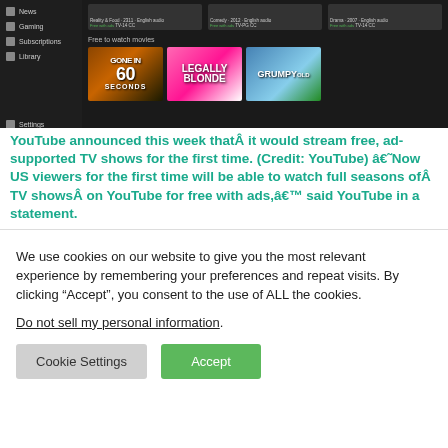[Figure (screenshot): YouTube TV interface screenshot showing sidebar with News, Gaming, Subscriptions, Library, Settings items and movie thumbnails including Gone in 60 Seconds, Legally Blonde, and Grumpy Old Men with Free to watch movies section]
YouTube announced this week thatÂ it would stream free, ad-supported TV shows for the first time. (Credit: YouTube) âNow US viewers for the first time will be able to watch full seasons ofÂ TV showsÂ on YouTube for free with ads,â said YouTube in a statement.
We use cookies on our website to give you the most relevant experience by remembering your preferences and repeat visits. By clicking “Accept”, you consent to the use of ALL the cookies.
Do not sell my personal information.
Cookie Settings Accept